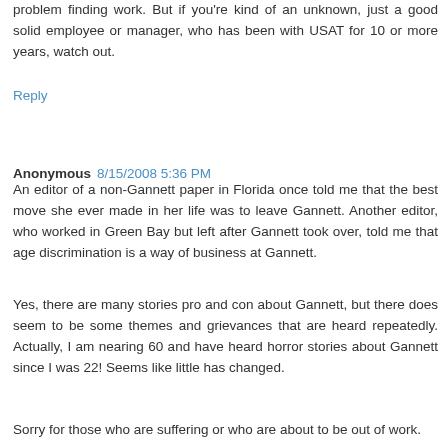problem finding work. But if you're kind of an unknown, just a good solid employee or manager, who has been with USAT for 10 or more years, watch out.
Reply
Anonymous 8/15/2008 5:36 PM
An editor of a non-Gannett paper in Florida once told me that the best move she ever made in her life was to leave Gannett. Another editor, who worked in Green Bay but left after Gannett took over, told me that age discrimination is a way of business at Gannett.
Yes, there are many stories pro and con about Gannett, but there does seem to be some themes and grievances that are heard repeatedly. Actually, I am nearing 60 and have heard horror stories about Gannett since I was 22! Seems like little has changed.
Sorry for those who are suffering or who are about to be out of work.